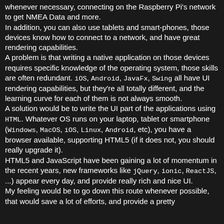whenever necessary, connecting on the Raspberry Pi's network to get NMEA Data and more. In addition, you can also use tablets and smart-phones, those devices know how to connect to a network, and have great rendering capabilities. A problem is that writing a native application on those devices requires specific knowledge of the operating system, those skills are often redundant. iOS, Android, JavaFx, Swing all have UI rendering capabilities, but they're all totally different, and the learning curve for each of them is not always smooth. A solution would be to write the UI part of the applications using HTML. Whatever OS runs on your laptop, tablet or smartphone (Windows, MacOS, iOS, Linux, Android, etc), you have a browser available, supporting HTML5 (if it does not, you should really upgrade it). HTML5 and JavaScript have been gaining a lot of momentum in the recent years, new frameworks like jQuery, ionic, ReactJS, ...) appear every day, and provide really rich and nice UI. My feeling would be to go down this route whenever possible, that would save a lot of efforts, and provide a pretty and Graphical User Interface (GUI). Moreover, it does for